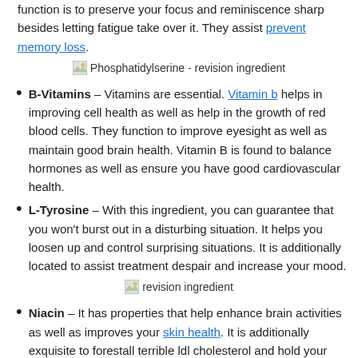function is to preserve your focus and reminiscence sharp besides letting fatigue take over it. They assist prevent memory loss.
[Figure (photo): Image placeholder: Phosphatidylserine - revision ingredient]
B-Vitamins – Vitamins are essential. Vitamin b helps in improving cell health as well as help in the growth of red blood cells. They function to improve eyesight as well as maintain good brain health. Vitamin B is found to balance hormones as well as ensure you have good cardiovascular health.
L-Tyrosine – With this ingredient, you can guarantee that you won't burst out in a disturbing situation. It helps you loosen up and control surprising situations. It is additionally located to assist treatment despair and increase your mood.
[Figure (photo): Image placeholder: revision ingredient]
Niacin – It has properties that help enhance brain activities as well as improves your skin health. It is additionally exquisite to forestall terrible ldl cholesterol and hold your